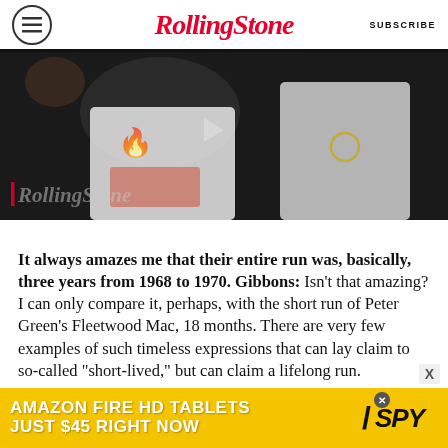Rolling Stone | SUBSCRIBE
[Figure (photo): Two people wearing white t-shirts with graphic prints, dark background, Rolling Stone watermark logo visible in lower left of image]
It always amazes me that their entire run was, basically, three years from 1968 to 1970. Gibbons: Isn't that amazing? I can only compare it, perhaps, with the short run of Peter Green's Fleetwood Mac, 18 months. There are very few examples of such timeless expressions that can lay claim to so-called "short-lived," but can claim a lifelong run.
[Figure (screenshot): Advertisement banner: AMAZON FIRE HD TABLETS JUST $45 RIGHT NOW with SPY logo on yellow background]